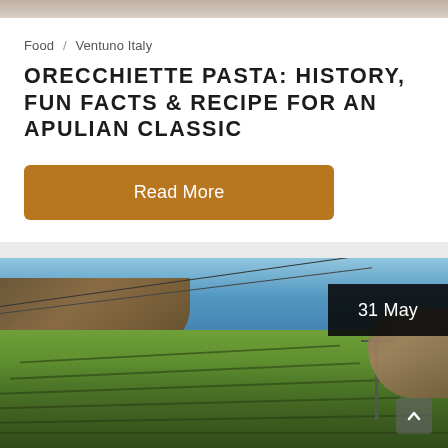[Figure (photo): Top image strip — partial cropped photo at top of page]
Food / Ventuno Italy
ORECCHIETTE PASTA: HISTORY, FUN FACTS & RECIPE FOR AN APULIAN CLASSIC
Read More
[Figure (photo): Landscape photo of terraced vineyards on a hillside overlooking the blue sea, with power lines visible]
31 May